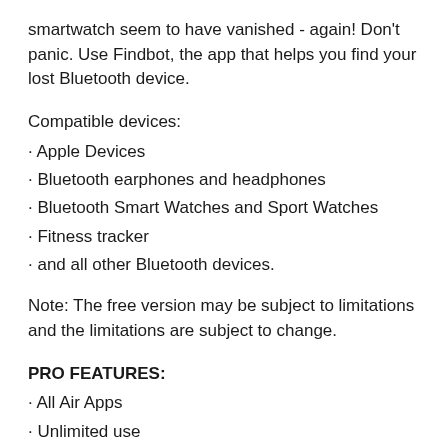smartwatch seem to have vanished - again! Don't panic. Use Findbot, the app that helps you find your lost Bluetooth device.
Compatible devices:
Apple Devices
Bluetooth earphones and headphones
Bluetooth Smart Watches and Sport Watches
Fitness tracker
and all other Bluetooth devices.
Note: The free version may be subject to limitations and the limitations are subject to change.
PRO FEATURES:
All Air Apps
Unlimited use
100% Ad free